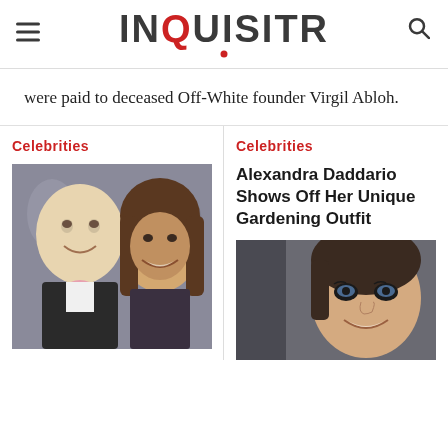INQUISITR
were paid to deceased Off-White founder Virgil Abloh.
Celebrities
[Figure (photo): Two people smiling at a formal event — a man in a tuxedo with pink bow tie and a woman with long brown hair]
Celebrities
Alexandra Daddario Shows Off Her Unique Gardening Outfit
[Figure (photo): Close-up of Alexandra Daddario smiling, wearing eye makeup, gray background]